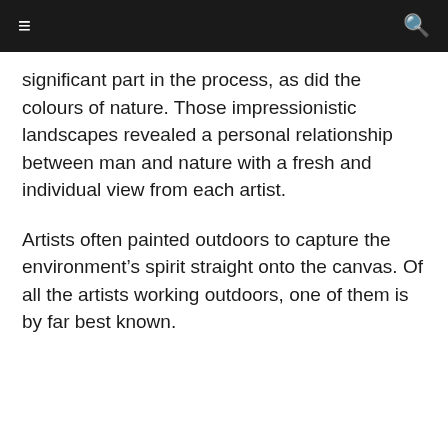≡  🔍
significant part in the process, as did the colours of nature. Those impressionistic landscapes revealed a personal relationship between man and nature with a fresh and individual view from each artist.
Artists often painted outdoors to capture the environment's spirit straight onto the canvas. Of all the artists working outdoors, one of them is by far best known.